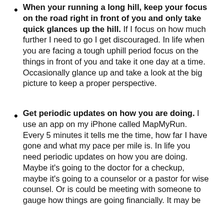When your running a long hill, keep your focus on the road right in front of you and only take quick glances up the hill. If I focus on how much further I need to go I get discouraged. In life when you are facing a tough uphill period focus on the things in front of you and take it one day at a time. Occasionally glance up and take a look at the big picture to keep a proper perspective.
Get periodic updates on how you are doing. I use an app on my iPhone called MapMyRun. Every 5 minutes it tells me the time, how far I have gone and what my pace per mile is. In life you need periodic updates on how you are doing. Maybe it's going to the doctor for a checkup, maybe it's going to a counselor or a pastor for wise counsel. Or is could be meeting with someone to gauge how things are going financially. It may be